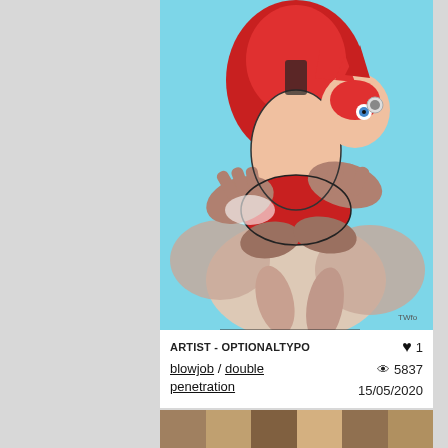[Figure (illustration): Anime-style illustration showing a figure in red and white outfit from above, with multiple hands involved in an explicit scene, on a light blue background. Artist watermark 'TWfo' visible at bottom right.]
ARTIST - OPTIONALTYPO
♥ 1
blowjob / double penetration
👁 5837
15/05/2020
[Figure (photo): Partial view of another image at the bottom of the page, mostly cropped out.]